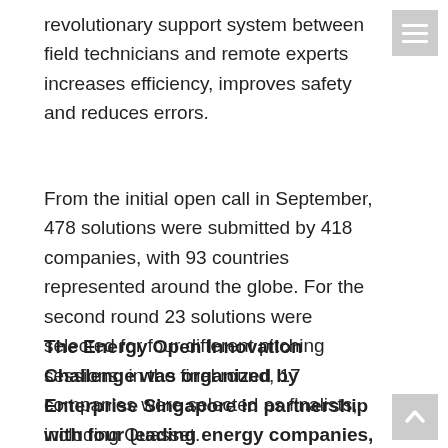revolutionary support system between field technicians and remote experts increases efficiency, improves safety and reduces errors.
From the initial open call in September, 478 solutions were submitted by 418 companies, with 93 countries represented around the globe. For the second round 23 solutions were selected for four different pitching sessions; in the final round, 17 companies were selected as finalists, including Quasset.
The Energy Open Innovation Challenge was organized by Enterprise Singapore in partnership with four leading energy companies, Chevron, ConocoPhillips, ExxonMobil, and Shell. The call for innovative solutions addresses industry-wide challenges in Asset Management, Robotics,